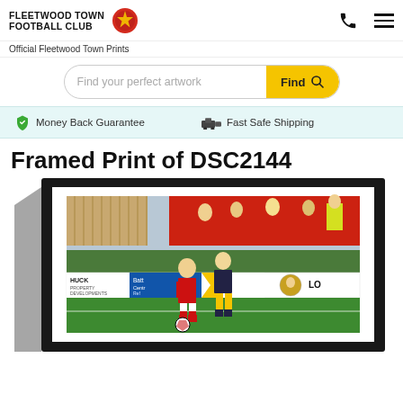FLEETWOOD TOWN FOOTBALL CLUB — Official Fleetwood Town Prints
Find your perfect artwork
Money Back Guarantee   Fast Safe Shipping
Framed Print of DSC2144
[Figure (photo): Framed print of a Fleetwood Town football match photo (DSC2144) showing two players competing for the ball on a grass pitch with advertising hoardings including HUCK PROPERTY DEVELOPMENTS in the background, within a black frame with white mat.]